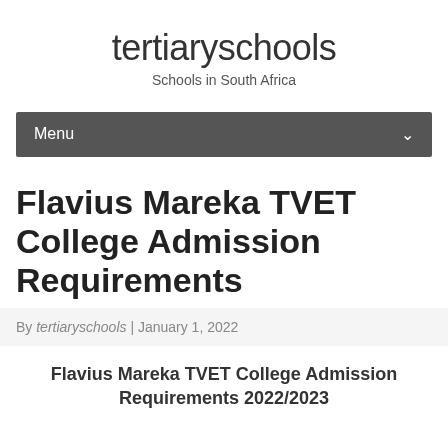tertiaryschools
Schools in South Africa
Flavius Mareka TVET College Admission Requirements
By tertiaryschools | January 1, 2022
Flavius Mareka TVET College Admission Requirements 2022/2023